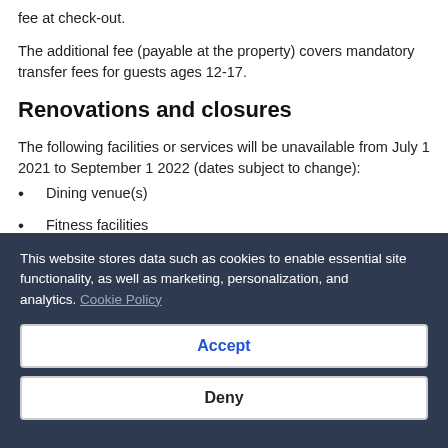fee at check-out.
The additional fee (payable at the property) covers mandatory transfer fees for guests ages 12-17.
Renovations and closures
The following facilities or services will be unavailable from July 1 2021 to September 1 2022 (dates subject to change):
Dining venue(s)
Fitness facilities
Access methods
This website stores data such as cookies to enable essential site functionality, as well as marketing, personalization, and analytics. Cookie Policy
Accept
Deny